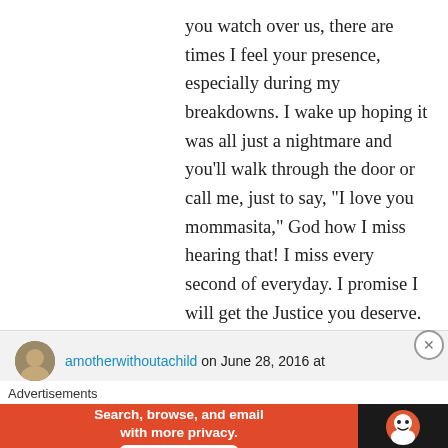you watch over us, there are times I feel your presence, especially during my breakdowns. I wake up hoping it was all just a nightmare and you'll walk through the door or call me, just to say, “I love you mommasita,” God how I miss hearing that! I miss every second of everyday. I promise I will get the Justice you deserve. Loving and missing you……Mom
Liked by 1 person
Reply
amotherwithoutachild on June 28, 2016 at
Advertisements
[Figure (screenshot): DuckDuckGo advertisement banner with orange background showing 'Search, browse, and email with more privacy. All in One Free App' text and DuckDuckGo logo on dark right panel.]